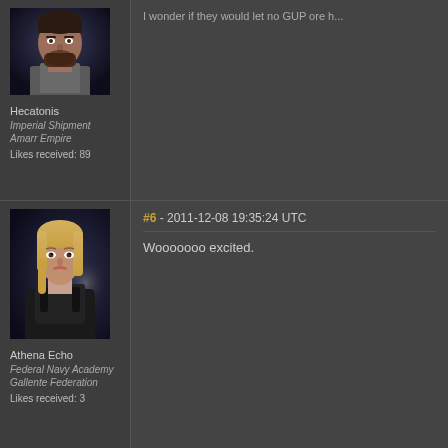I wonder if they would let no GUP ore h...
[Figure (illustration): Portrait of Hecatonis, a male character with dark hair and beard from the game EVE Online, dark moody background]
Hecatonis
Imperial Shipment
Amarr Empire
Likes received: 89
[Figure (illustration): Portrait of Athena Echo, a blonde female character from the game EVE Online, wearing dark armor, dark background]
Athena Echo
Federal Navy Academy
Gallente Federation
Likes received: 3
#6 - 2011-12-08 19:35:24 UTC
Wooooooo excited.